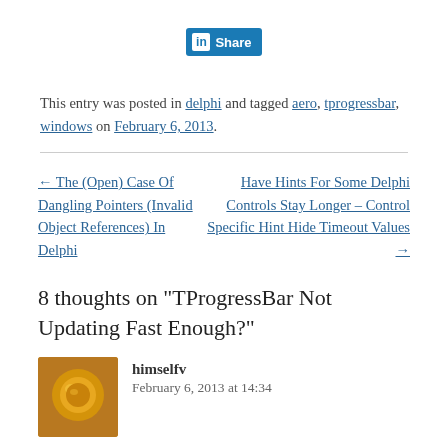[Figure (other): LinkedIn Share button]
This entry was posted in delphi and tagged aero, tprogressbar, windows on February 6, 2013.
← The (Open) Case Of Dangling Pointers (Invalid Object References) In Delphi
Have Hints For Some Delphi Controls Stay Longer – Control Specific Hint Hide Timeout Values →
8 thoughts on "TProgressBar Not Updating Fast Enough?"
himselfv
February 6, 2013 at 14:34